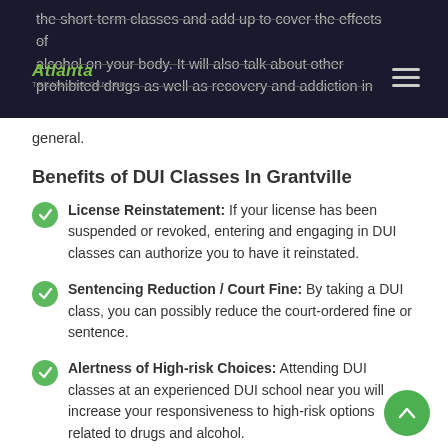the short-term classes and add up to cover the effects of alcohol on your body. It will also talk about other prohibited drugs as well as recovery and addiction in general.
Benefits of DUI Classes In Grantville
License Reinstatement: If your license has been suspended or revoked, entering and engaging in DUI classes can authorize you to have it reinstated.
Sentencing Reduction / Court Fine: By taking a DUI class, you can possibly reduce the court-ordered fine or sentence.
Alertness of High-risk Choices: Attending DUI classes at an experienced DUI school near you will increase your responsiveness to high-risk options related to drugs and alcohol.